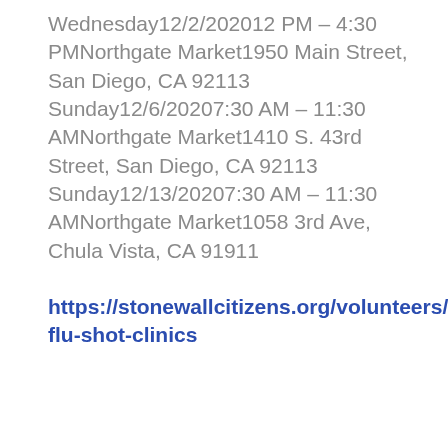Wednesday12/2/202012 PM – 4:30 PMNorthgate Market1950 Main Street, San Diego, CA 92113 Sunday12/6/20207:30 AM – 11:30 AMNorthgate Market1410 S. 43rd Street, San Diego, CA 92113 Sunday12/13/20207:30 AM – 11:30 AMNorthgate Market1058 3rd Ave, Chula Vista, CA 91911
https://stonewallcitizens.org/volunteers/free-flu-shot-clinics